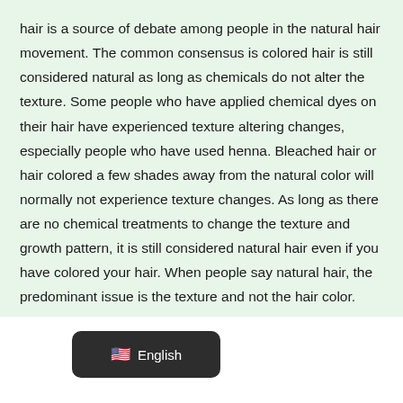hair is a source of debate among people in the natural hair movement. The common consensus is colored hair is still considered natural as long as chemicals do not alter the texture. Some people who have applied chemical dyes on their hair have experienced texture altering changes, especially people who have used henna. Bleached hair or hair colored a few shades away from the natural color will normally not experience texture changes. As long as there are no chemical treatments to change the texture and growth pattern, it is still considered natural hair even if you have colored your hair. When people say natural hair, the predominant issue is the texture and not the hair color.
[Figure (other): A dark rounded button labeled 'English' with a US flag emoji, positioned at the bottom of the page on a white background.]